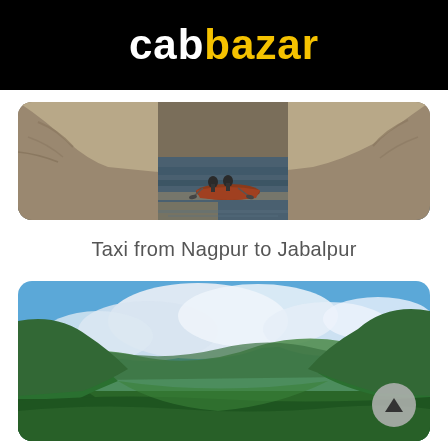cabbazar
[Figure (photo): River gorge with rocky cliffs on both sides and a small boat with people rowing through calm water]
Taxi from Nagpur to Jabalpur
[Figure (photo): Scenic green valley with lush forested hills, cloudy blue sky, viewed from above]